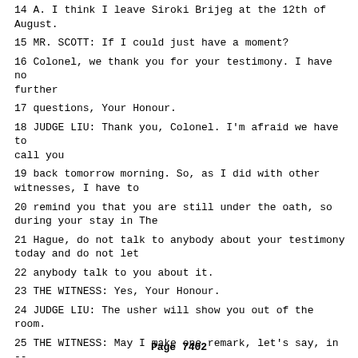14 A. I think I leave Siroki Brijeg at the 12th of August.
15 MR. SCOTT: If I could just have a moment?
16 Colonel, we thank you for your testimony. I have no further
17 questions, Your Honour.
18 JUDGE LIU: Thank you, Colonel. I'm afraid we have to call you
19 back tomorrow morning. So, as I did with other witnesses, I have to
20 remind you that you are still under the oath, so during your stay in The
21 Hague, do not talk to anybody about your testimony today and do not let
22 anybody talk to you about it.
23 THE WITNESS: Yes, Your Honour.
24 JUDGE LIU: The usher will show you out of the room.
25 THE WITNESS: May I make one remark, let's say, in -- I found out
Page 7402